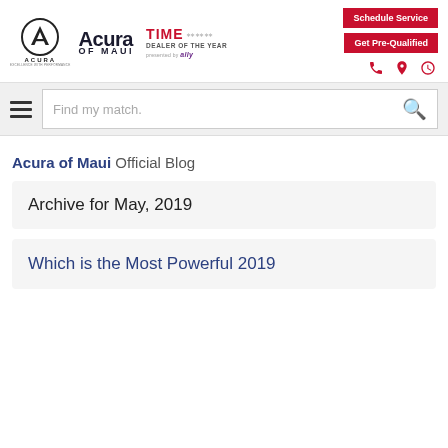[Figure (logo): Acura of Maui logo with Acura circle logo, dealership name, TIME Dealer of the Year badge, and ally sponsor text]
[Figure (other): Schedule Service and Get Pre-Qualified red buttons with phone, location, and clock icons]
[Figure (other): Navigation bar with hamburger menu icon and search box reading 'Find my match.']
Acura of Maui Official Blog
Archive for May, 2019
Which is the Most Powerful 2019